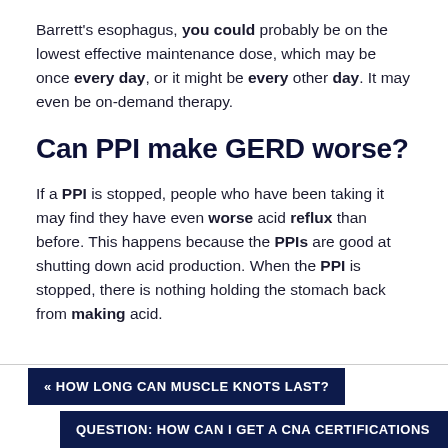Barrett's esophagus, you could probably be on the lowest effective maintenance dose, which may be once every day, or it might be every other day. It may even be on-demand therapy.
Can PPI make GERD worse?
If a PPI is stopped, people who have been taking it may find they have even worse acid reflux than before. This happens because the PPIs are good at shutting down acid production. When the PPI is stopped, there is nothing holding the stomach back from making acid.
« HOW LONG CAN MUSCLE KNOTS LAST?
QUESTION: HOW CAN I GET A CNA CERTIFICATIONS